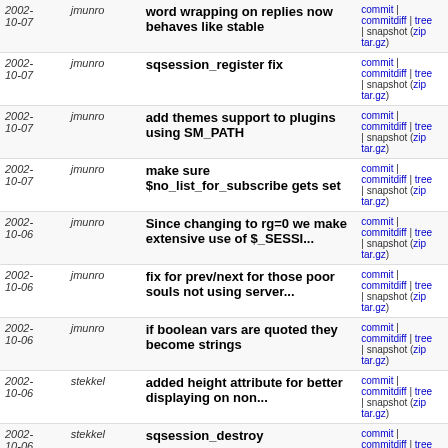| date | author | message | links |
| --- | --- | --- | --- |
| 2002-10-07 | jmunro | word wrapping on replies now behaves like stable | commit | commitdiff | tree | snapshot (zip tar.gz) |
| 2002-10-07 | jmunro | sqsession_register fix | commit | commitdiff | tree | snapshot (zip tar.gz) |
| 2002-10-07 | jmunro | add themes support to plugins using SM_PATH | commit | commitdiff | tree | snapshot (zip tar.gz) |
| 2002-10-07 | jmunro | make sure $no_list_for_subscribe gets set | commit | commitdiff | tree | snapshot (zip tar.gz) |
| 2002-10-06 | jmunro | Since changing to rg=0 we make extensive use of $_SESSI... | commit | commitdiff | tree | snapshot (zip tar.gz) |
| 2002-10-06 | jmunro | fix for prev/next for those poor souls not using server... | commit | commitdiff | tree | snapshot (zip tar.gz) |
| 2002-10-06 | jmunro | if boolean vars are quoted they become strings | commit | commitdiff | tree | snapshot (zip tar.gz) |
| 2002-10-06 | stekkel | added height attribute for better displaying on non... | commit | commitdiff | tree | snapshot (zip tar.gz) |
| 2002-10-06 | stekkel | sqsession_destroy | commit | commitdiff | tree | snapshot (zip tar.gz) |
| 2002-10-06 | stekkel | merge from stable: | commit | |